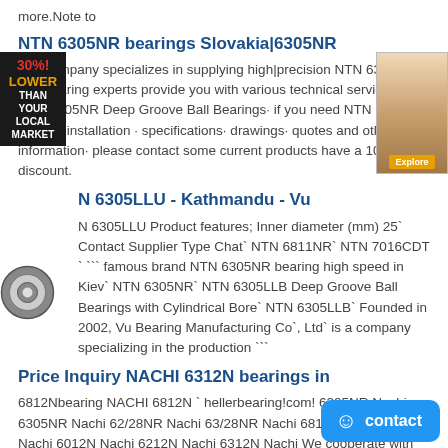more.Note to
NTN 6305NR bearings Slovakia|6305NR
Our company specializes in supplying high|precision NTN 6305NR. Our bearing experts provide you with various technical services. NTN 6305NR Deep Groove Ball Bearings· if you need NTN 6305NR bearing installation · specifications· drawings· quotes and other information· please contact some current products have a 10% discount.
N 6305LLU - Kathmandu - Vu
N 6305LLU Product features; Inner diameter (mm) 25` Contact Supplier Type Chat` NTN 6811NR` NTN 7016CDT ` ``` famous brand NTN 6305NR bearing high speed in Kiev` NTN 6305NR` NTN 6305LLB Deep Groove Ball Bearings with Cylindrical Bore` NTN 6305LLB` Founded in 2002, Vu Bearing Manufacturing Co`, Ltd` is a company specializing in the production ```
Price Inquiry NACHI 6312N bearings in
6812Nbearing NACHI 6812N ` hellerbearing!com! 6205NR Nachi 6305NR Nachi 62/28NR Nachi 63/28NR Nachi 6812N Nachi 6912N Nachi 6012N Nachi 6212N Nachi 6312N Nachi We cooperate with UPS,TNT,FEDEX,EMS,DHL,etc!They guarantee to meet your time and money,even if you need your 6812N bearing tonight (overnight or next day air) on your desk, 2, 3 days or more!Note to !!!